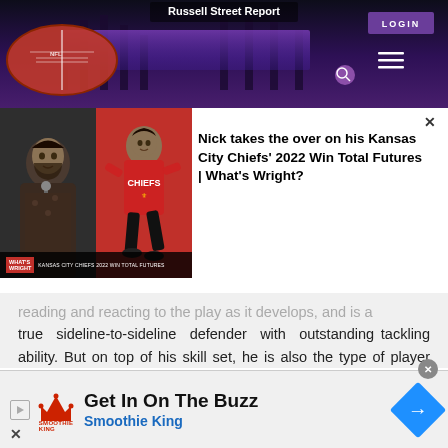[Figure (screenshot): Russell Street Report website header banner with purple-lit stadium background, football image, LOGIN button, and hamburger menu]
[Figure (screenshot): Video popup showing two-panel thumbnail: left panel man speaking at microphone, right panel Chiefs player running in red hoodie. Caption reads WHAT'S WRIGHT and KANSAS CITY CHIEFS 2022 WIN TOTAL FUTURES]
Nick takes the over on his Kansas City Chiefs' 2022 Win Total Futures | What's Wright?
reading and reacting to the play as it develops, and is a true sideline-to-sideline defender with outstanding tackling ability. But on top of his skill set, he is also the type of player you can build a Defense around with his excellent work ethic, high-motor, leadership in between the lines and his amazing character on and off the field.
[Figure (screenshot): Smoothie King advertisement banner: Get In On The Buzz, Smoothie King, with crown logo, play button, arrow icon, and close buttons]